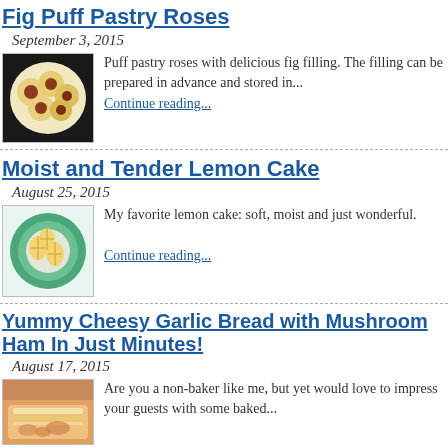Fig Puff Pastry Roses
September 3, 2015
[Figure (photo): Photo of fig puff pastry roses on a plate]
Puff pastry roses with delicious fig filling. The filling can be prepared in advance and stored in...
Continue reading...
Moist and Tender Lemon Cake
August 25, 2015
[Figure (photo): Photo of lemon cake with sliced lemons on a plate]
My favorite lemon cake: soft, moist and just wonderful.
Continue reading...
Yummy Cheesy Garlic Bread with Mushroom Ham In Just Minutes!
August 17, 2015
[Figure (photo): Photo of cheesy garlic bread with mushroom ham]
Are you a non-baker like me, but yet would love to impress your guests with some baked...